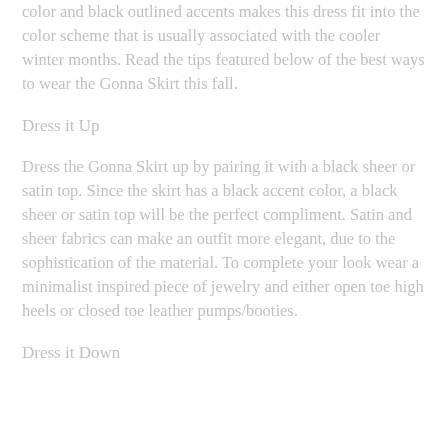color and black outlined accents makes this dress fit into the color scheme that is usually associated with the cooler winter months. Read the tips featured below of the best ways to wear the Gonna Skirt this fall.
Dress it Up
Dress the Gonna Skirt up by pairing it with a black sheer or satin top. Since the skirt has a black accent color, a black sheer or satin top will be the perfect compliment. Satin and sheer fabrics can make an outfit more elegant, due to the sophistication of the material. To complete your look wear a minimalist inspired piece of jewelry and either open toe high heels or closed toe leather pumps/booties.
Dress it Down